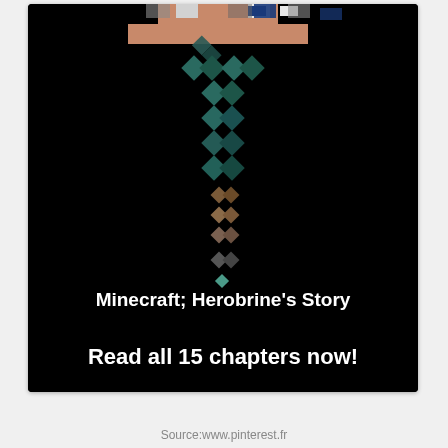[Figure (illustration): Minecraft diamond sword with Herobrine character head at top on black background. Text overlay reads 'Minecraft; Herobrine's Story' and 'Read all 15 chapters now!']
Source:www.pinterest.fr